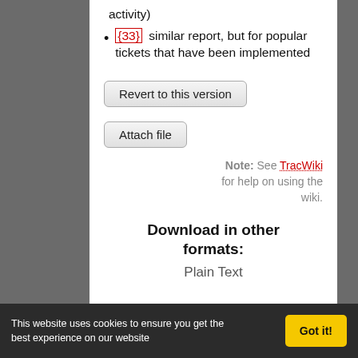activity)
{33} similar report, but for popular tickets that have been implemented
Revert to this version
Attach file
Note: See TracWiki for help on using the wiki.
Download in other formats:
Plain Text
This website uses cookies to ensure you get the best experience on our website